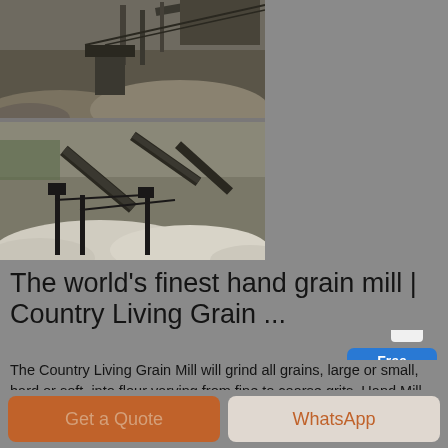[Figure (photo): Two industrial mining/quarry photos stacked: top shows a quarry processing facility with machinery and rock piles; bottom shows conveyor belt systems over sand/gravel piles at a quarry or aggregate plant.]
[Figure (illustration): Free chat widget with a customer service representative figure above a blue button labeled 'Free chat']
The world's finest hand grain mill | Country Living Grain ...
The Country Living Grain Mill will grind all grains, large or small, hard or soft, into flour varying from fine to coarse grits. Hand Mill or electric makes grinding grains easy
Get a Quote
WhatsApp